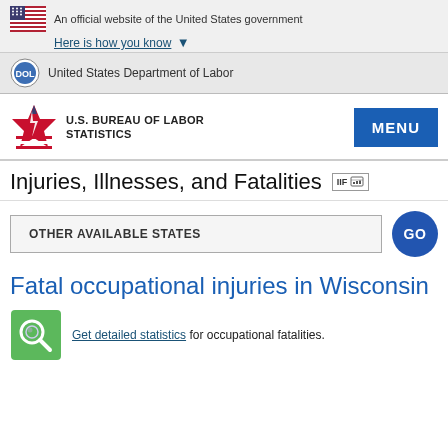An official website of the United States government
Here is how you know
United States Department of Labor
U.S. BUREAU OF LABOR STATISTICS
Injuries, Illnesses, and Fatalities
OTHER AVAILABLE STATES
Fatal occupational injuries in Wisconsin
Get detailed statistics for occupational fatalities.